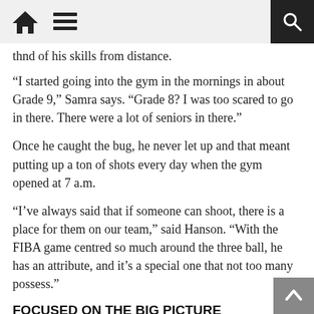[home icon] [menu icon] [search icon]
thnd of his skills from distance.
“I started going into the gym in the mornings in about Grade 9,” Samra says. “Grade 8? I was too scared to go in there. There were a lot of seniors in there.”
Once he caught the bug, he never let up and that meant putting up a ton of shots every day when the gym opened at 7 a.m.
“I’ve always said that if someone can shoot, there is a place for them on our team,” said Hanson. “With the FIBA game centred so much around the three ball, he has an attribute, and it’s a special one that not too many possess.”
FOCUSED ON THE BIG PICTURE
Samra has plenty more stories about falling in love with